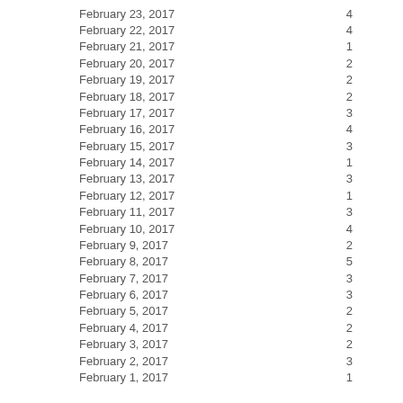| Date | Count |
| --- | --- |
| February 23, 2017 | 4 |
| February 22, 2017 | 4 |
| February 21, 2017 | 1 |
| February 20, 2017 | 2 |
| February 19, 2017 | 2 |
| February 18, 2017 | 2 |
| February 17, 2017 | 3 |
| February 16, 2017 | 4 |
| February 15, 2017 | 3 |
| February 14, 2017 | 1 |
| February 13, 2017 | 3 |
| February 12, 2017 | 1 |
| February 11, 2017 | 3 |
| February 10, 2017 | 4 |
| February 9, 2017 | 2 |
| February 8, 2017 | 5 |
| February 7, 2017 | 3 |
| February 6, 2017 | 3 |
| February 5, 2017 | 2 |
| February 4, 2017 | 2 |
| February 3, 2017 | 2 |
| February 2, 2017 | 3 |
| February 1, 2017 | 1 |